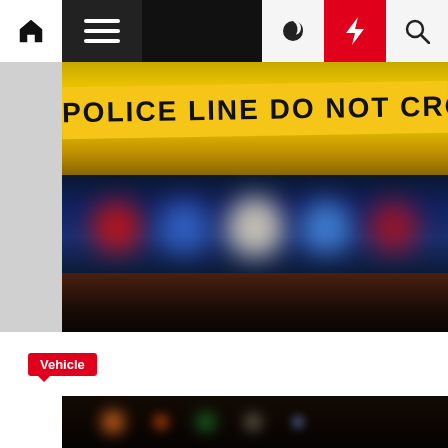Navigation bar with home, menu, moon, lightning, search icons
[Figure (photo): Police line do not cross yellow tape with blurred police lights in background]
Vehicle
WATCH: Two seriously injured in Baysvillage accident
Dovie Salais  2 years ago
[Figure (photo): Dark nighttime scene with blurred colored lights, bottom strip of second article image]